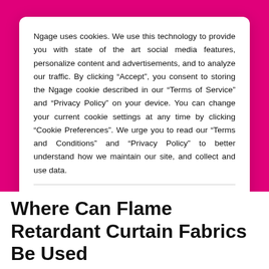Ngage uses cookies. We use this technology to provide you with state of the art social media features, personalize content and advertisements, and to analyze our traffic. By clicking “Accept”, you consent to storing the Ngage cookie described in our “Terms of Service” and “Privacy Policy” on your device. You can change your current cookie settings at any time by clicking “Cookie Preferences”. We urge you to read our “Terms and Conditions” and “Privacy Policy” to better understand how we maintain our site, and collect and use data.
Accept
Read More
Where Can Flame Retardant Curtain Fabrics Be Used